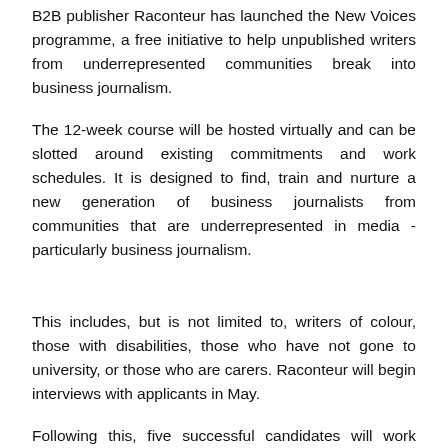B2B publisher Raconteur has launched the New Voices programme, a free initiative to help unpublished writers from underrepresented communities break into business journalism.
The 12-week course will be hosted virtually and can be slotted around existing commitments and work schedules. It is designed to find, train and nurture a new generation of business journalists from communities that are underrepresented in media - particularly business journalism.
This includes, but is not limited to, writers of colour, those with disabilities, those who have not gone to university, or those who are carers. Raconteur will begin interviews with applicants in May.
Following this, five successful candidates will work alongside each other to learn everything they need to know